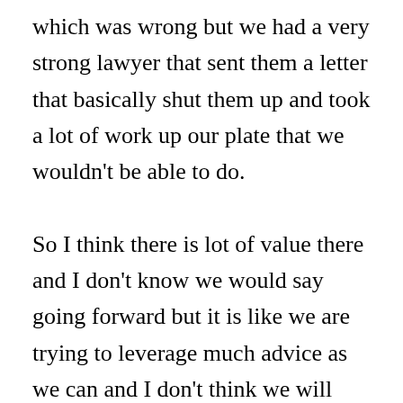which was wrong but we had a very strong lawyer that sent them a letter that basically shut them up and took a lot of work up our plate that we wouldn't be able to do.

So I think there is lot of value there and I don't know we would say going forward but it is like we are trying to leverage much advice as we can and I don't think we will have anyone on retainer per se but just having good contacts would be helpful. [Informal Talk] I do not know, I did not use attorney at